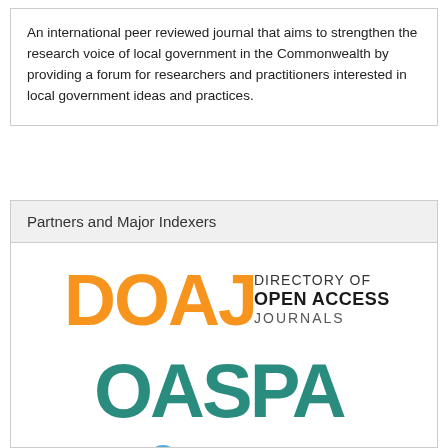An international peer reviewed journal that aims to strengthen the research voice of local government in the Commonwealth by providing a forum for researchers and practitioners interested in local government ideas and practices.
Partners and Major Indexers
[Figure (logo): DOAJ - Directory of Open Access Journals logo with orange lettering]
[Figure (logo): OASPA logo in teal/green lettering]
[Figure (logo): OpenAIRE logo with dark blue circle and light blue plus sign]